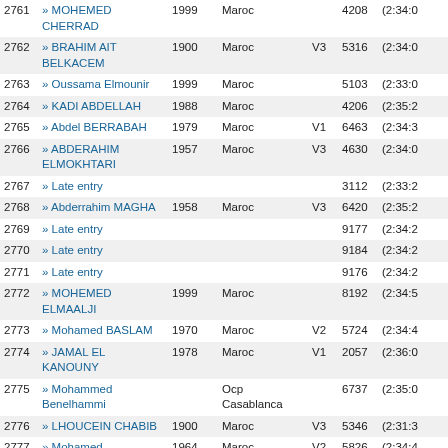| # | Name | Year | Club | Cat | Bib | Time |
| --- | --- | --- | --- | --- | --- | --- |
| 2761 | » MOHEMED CHERRAD | 1999 | Maroc |  | 4208 | (2:34:0 |
| 2762 | » BRAHIM AIT BELKACEM | 1900 | Maroc | V3 | 5316 | (2:34:0 |
| 2763 | » Oussama Elmounir | 1999 | Maroc |  | 5103 | (2:33:0 |
| 2764 | » KADI ABDELLAH | 1988 | Maroc |  | 4206 | (2:35:2 |
| 2765 | » Abdel BERRABAH | 1979 | Maroc | V1 | 6463 | (2:34:3 |
| 2766 | » ABDERAHIM ELMOKHTARI | 1957 | Maroc | V3 | 4630 | (2:34:0 |
| 2767 | » Late entry |  |  |  | 3112 | (2:33:2 |
| 2768 | » Abderrahim MAGHA | 1958 | Maroc | V3 | 6420 | (2:35:2 |
| 2769 | » Late entry |  |  |  | 9177 | (2:34:2 |
| 2770 | » Late entry |  |  |  | 9184 | (2:34:2 |
| 2771 | » Late entry |  |  |  | 9176 | (2:34:2 |
| 2772 | » MOHEMED ELMAALJI | 1999 | Maroc |  | 8192 | (2:34:5 |
| 2773 | » Mohamed BASLAM | 1970 | Maroc | V2 | 5724 | (2:34:4 |
| 2774 | » JAMAL EL KANOUNY | 1978 | Maroc | V1 | 2057 | (2:36:0 |
| 2775 | » Mohammed Benelhammi |  | Ocp Casablanca |  | 6737 | (2:35:0 |
| 2776 | » LHOUCEIN CHABIB | 1900 | Maroc | V3 | 5346 | (2:31:3 |
| 2777 | » Mohamed ZERKTOUNI | 1964 | Maroc | V2 | 5826 | (2:34:4 |
| 2778 | » MOHAMED MAITAL | 1969 | Maroc | V2 | 4722 | (2:33:2 |
| 2779 | » MOHAMED BOUTARBOUCHE | 1994 | Maroc |  | 3063 | (2:35:2 |
| 2780 | » Late entry |  |  |  | 3104 | (2:34:2 |
| 2781 | » DRID TOURBI | 1965 | Maroc | V2 | 2412 | (2:34:5 |
| 2782 | » ABDELLAH RAGHAY | 1954 | Maroc | V3 | 2404 | (2:34:5 |
| 2783 | » KHATER Lahcen |  | Ocp Casablanca |  | 6762 | (2:35:2 |